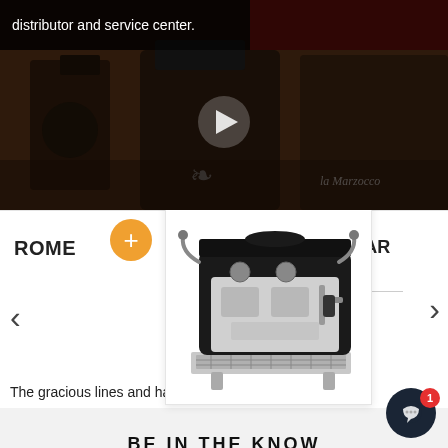distributor and service center.
[Figure (photo): Video thumbnail showing espresso machine equipment with play button overlay and 'la Marzocco' branding visible]
[Figure (photo): Espresso machine product image (La Marzocco GB5 S) shown in center carousel card]
ROME
CLA
DE
LA MAR
AV
La Mar:
The gracious lines and harmonious curves of the GB5 S
BE IN THE KNOW